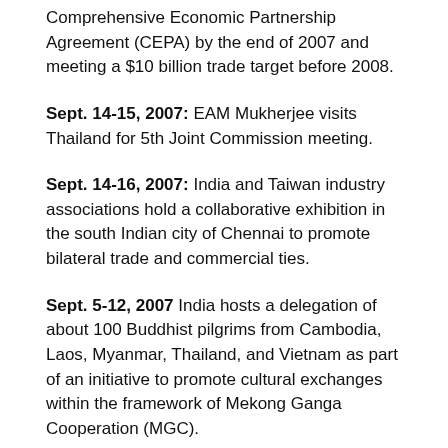Comprehensive Economic Partnership Agreement (CEPA) by the end of 2007 and meeting a $10 billion trade target before 2008.
Sept. 14-15, 2007: EAM Mukherjee visits Thailand for 5th Joint Commission meeting.
Sept. 14-16, 2007: India and Taiwan industry associations hold a collaborative exhibition in the south Indian city of Chennai to promote bilateral trade and commercial ties.
Sept. 5-12, 2007 India hosts a delegation of about 100 Buddhist pilgrims from Cambodia, Laos, Myanmar, Thailand, and Vietnam as part of an initiative to promote cultural exchanges within the framework of Mekong Ganga Cooperation (MGC).